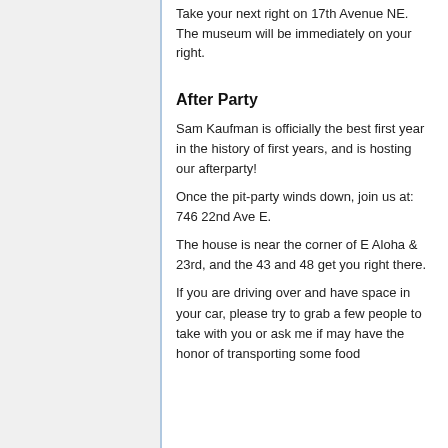Take your next right on 17th Avenue NE. The museum will be immediately on your right.
After Party
Sam Kaufman is officially the best first year in the history of first years, and is hosting our afterparty!
Once the pit-party winds down, join us at: 746 22nd Ave E.
The house is near the corner of E Aloha & 23rd, and the 43 and 48 get you right there.
If you are driving over and have space in your car, please try to grab a few people to take with you or ask me if may have the honor of transporting some food